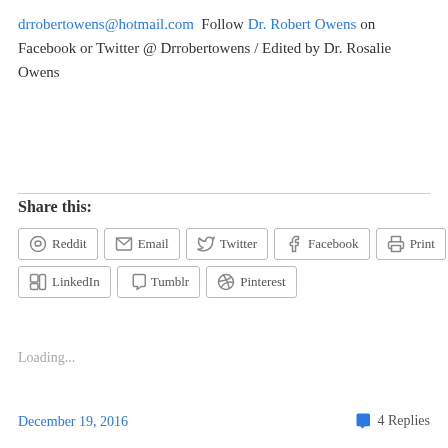drrobertowens@hotmail.com Follow Dr. Robert Owens on Facebook or Twitter @ Drrobertowens / Edited by Dr. Rosalie Owens
Share this:
Loading...
December 19, 2016   4 Replies